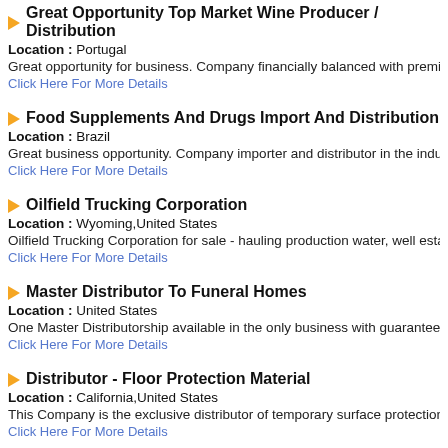Great Opportunity Top Market Wine Producer / Distribution
Location: Portugal
Great opportunity for business. Company financially balanced with premium
Click Here For More Details
Food Supplements And Drugs Import And Distribution
Location: Brazil
Great business opportunity. Company importer and distributor in the industr
Click Here For More Details
Oilfield Trucking Corporation
Location: Wyoming, United States
Oilfield Trucking Corporation for sale - hauling production water, well establi
Click Here For More Details
Master Distributor To Funeral Homes
Location: United States
One Master Distributorship available in the only business with guaranteed g
Click Here For More Details
Distributor - Floor Protection Material
Location: California, United States
This Company is the exclusive distributor of temporary surface protection in
Click Here For More Details
Fine Wine Importer / Distributor - Strong Growth
Location: United States